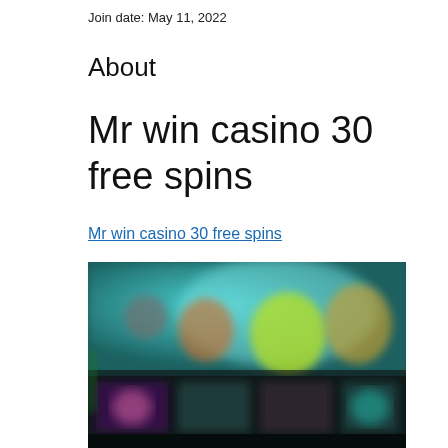Join date: May 11, 2022
About
Mr win casino 30 free spins
Mr win casino 30 free spins
[Figure (screenshot): Blurred screenshot of a casino game lobby showing various slot game thumbnails on a dark teal/green background with colorful game icons and characters.]